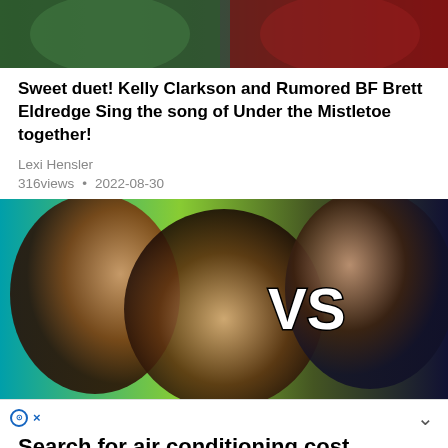[Figure (photo): Top portion of article thumbnail image showing two people, partially cropped at the bottom]
Sweet duet! Kelly Clarkson and Rumored BF Brett Eldredge Sing the song of Under the Mistletoe together!
Lexi Hensler
316views • 2022-08-30
[Figure (photo): Thumbnail image showing three people singing with VS text overlay between them, with colorful background]
⊙ ×
Search for air conditioning cost
Let A/C Pros Hook You Up. Don't miss Air-Conditioning results when you shop and search on Yahoo.
continue